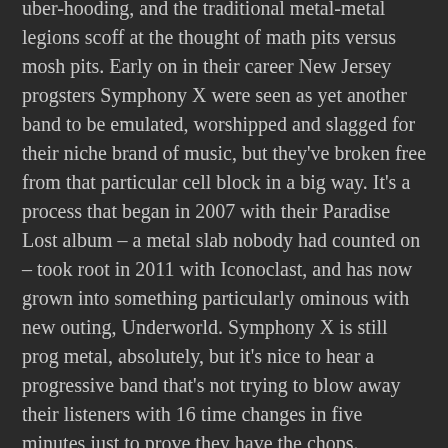uber-hooding, and the traditional metal-metal legions scoff at the thought of math pits versus mosh pits. Early on in their career New Jersey progsters Symphony X were seen as yet another band to be emulated, worshipped and slagged for their niche brand of music, but they've broken free from that particular cell block in a big way. It's a process that began in 2007 with their Paradise Lost album – a metal slab nobody had counted on – took root in 2011 with Iconoclast, and has now grown into something particularly ominous with new outing, Underworld. Symphony X is still prog metal, absolutely, but it's nice to hear a progressive band that's not trying to blow away their listeners with 16 time changes in five minutes just to prove they have the chops.
Ask guitarist Michael Romeo and he'll tell you Underworld is about the songs as a whole, not the